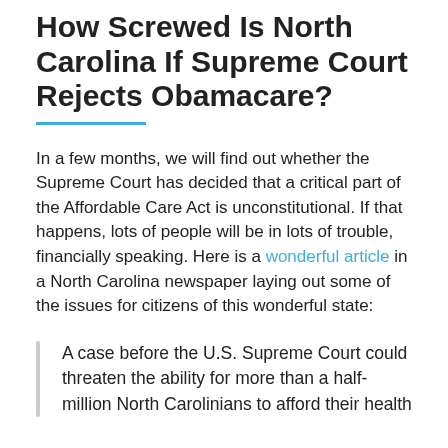How Screwed Is North Carolina If Supreme Court Rejects Obamacare?
In a few months, we will find out whether the Supreme Court has decided that a critical part of the Affordable Care Act is unconstitutional. If that happens, lots of people will be in lots of trouble, financially speaking. Here is a wonderful article in a North Carolina newspaper laying out some of the issues for citizens of this wonderful state:
A case before the U.S. Supreme Court could threaten the ability for more than a half-million North Carolinians to afford their health